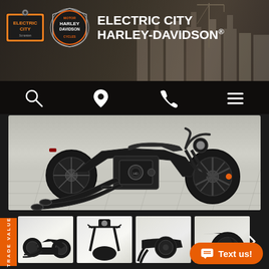[Figure (screenshot): Website screenshot of Electric City Harley-Davidson dealership page showing header with logos, navigation icons, main motorcycle photo of a black Harley-Davidson Iron 883 sportster, thumbnail gallery row, trade value banner, and Text us button]
ELECTRIC CITY HARLEY-DAVIDSON®
Text us!
TRADE VALUE